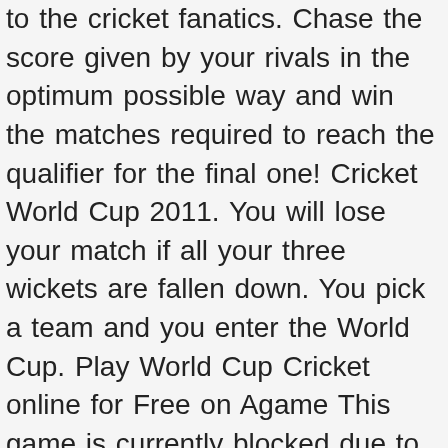to the cricket fanatics. Chase the score given by your rivals in the optimum possible way and win the matches required to reach the qualifier for the final one! Cricket World Cup 2011. You will lose your match if all your three wickets are fallen down. You pick a team and you enter the World Cup. Play World Cup Cricket online for Free on Agame This game is currently blocked due to the new privacy regulation and www.agame.com isn't currently controlling it. You select the match settings, weather conditions, stadiums, and other things. Flash 67% 350,912 plays Cricketer Premier League. Play in all six group matches and then try to survive the knockout phase. Cricket Games Cricket 20 20 Ultimate Indo Pak Cricket Showdown Flash Cricket 2 Cricket Challenge. Apple Safari. Select the nation you want to play for and dive into the pool of matchless thrill and fun! Download Cricket World Cup Game to feel the heat and experience the passions of famous cricket world cup game. It is not less than an unforgettable treat for your craving for cricket. Play three different types of games and win match after match to become the world champion. swf Cricket Challenge Choose your